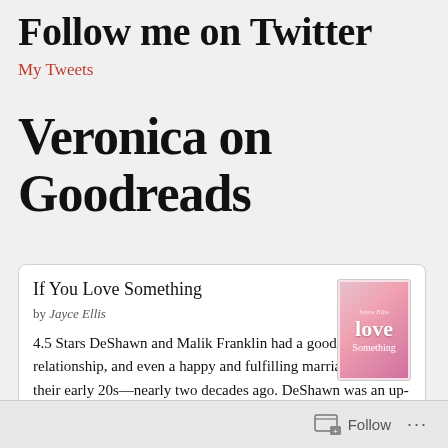Follow me on Twitter
My Tweets
Veronica on Goodreads
If You Love Something
by Jayce Ellis
4.5 Stars DeShawn and Malik Franklin had a good and loving relationship, and even a happy and fulfilling marriage back in their early 20s—nearly two decades ago. DeShawn was an up-and-coming sous chef and Malik was an accountant. They w...
Follow ...